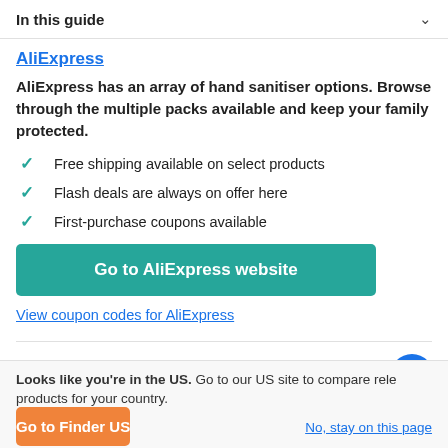In this guide
AliExpress
AliExpress has an array of hand sanitiser options. Browse through the multiple packs available and keep your family protected.
Free shipping available on select products
Flash deals are always on offer here
First-purchase coupons available
Go to AliExpress website
View coupon codes for AliExpress
Looks like you're in the US. Go to our US site to compare relevant products for your country.
Go to Finder US
No, stay on this page